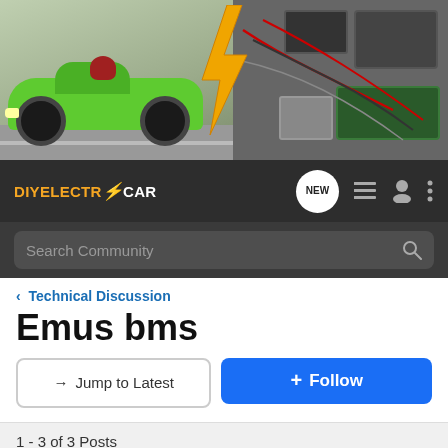[Figure (photo): Banner image showing a green electric racing car on the left and engine/battery components on the right, with a yellow lightning bolt in the center]
DIYELECTRICCAR — navigation bar with NEW, list, user, and menu icons, and Search Community search bar
< Technical Discussion
Emus bms
→ Jump to Latest   ⊕ Follow
1 - 3 of 3 Posts
gmills · Registered 🇺🇸
Joined Feb 25, 2017 · 25 Posts